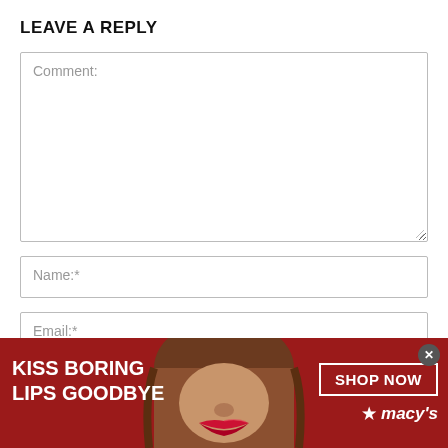LEAVE A REPLY
Comment:
Name:*
Email:*
Website:
[Figure (infographic): Macy's advertisement banner showing a woman's face with red lips, text 'KISS BORING LIPS GOODBYE', a 'SHOP NOW' button, and the Macy's star logo on a dark red background. An 'x' close button appears in top right corner.]